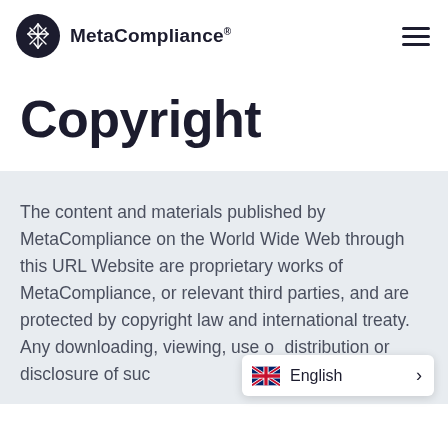MetaCompliance®
Copyright
The content and materials published by MetaCompliance on the World Wide Web through this URL Website are proprietary works of MetaCompliance, or relevant third parties, and are protected by copyright law and international treaty. Any downloading, viewing, use or distribution or disclosure of suc